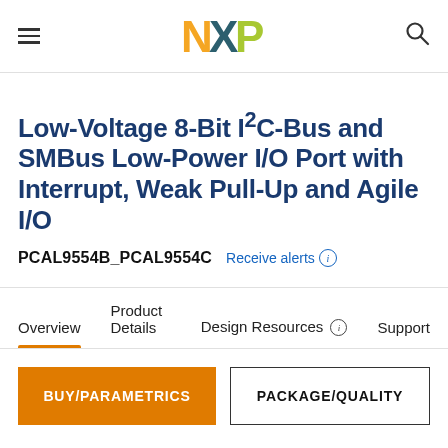NXP (logo)
Low-Voltage 8-Bit I²C-Bus and SMBus Low-Power I/O Port with Interrupt, Weak Pull-Up and Agile I/O
PCAL9554B_PCAL9554C  Receive alerts ⓘ
Overview   Product Details   Design Resources ⓘ   Support
BUY/PARAMETRICS   PACKAGE/QUALITY